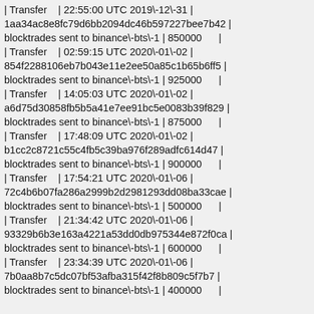| Type | Timestamp | Hash | Description | Amount |  |
| --- | --- | --- | --- | --- | --- |
| Transfer | 22:55:00 UTC 2019\-12\-31 | 1aa34ac8e8fc79d6bb2094dc46b597227bee7b42 | blocktrades sent to binance\-bts\-1 | 850000 |  |
| Transfer | 02:59:15 UTC 2020\-01\-02 | 854f2288106eb7b043e11e2ee50a85c1b65b6ff5 | blocktrades sent to binance\-bts\-1 | 925000 |  |
| Transfer | 14:05:03 UTC 2020\-01\-02 | a6d75d30858fb5b5a41e7ee91bc5e0083b39f829 | blocktrades sent to binance\-bts\-1 | 875000 |  |
| Transfer | 17:48:09 UTC 2020\-01\-02 | b1cc2c8721c55c4fb5c39ba976f289adfc614d47 | blocktrades sent to binance\-bts\-1 | 900000 |  |
| Transfer | 17:54:21 UTC 2020\-01\-06 | 72c4b6b07fa286a2999b2d2981293dd08ba33cae | blocktrades sent to binance\-bts\-1 | 500000 |  |
| Transfer | 21:34:42 UTC 2020\-01\-06 | 93329b6b3e163a4221a53dd0db975344e872f0ca | blocktrades sent to binance\-bts\-1 | 600000 |  |
| Transfer | 23:34:39 UTC 2020\-01\-06 | 7b0aa8b7c5dc07bf53afba315f42f8b809c5f7b7 | blocktrades sent to binance\-bts\-1 | 400000 |  |